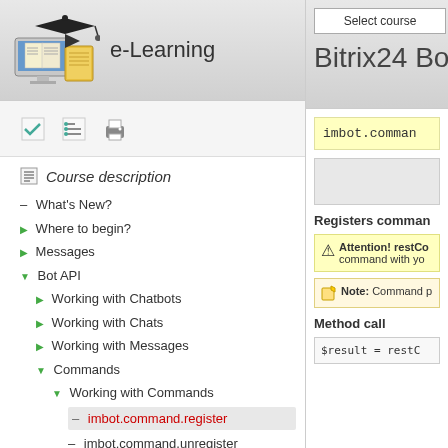[Figure (screenshot): e-Learning logo with graduation cap and books on computer]
e-Learning
[Figure (screenshot): Toolbar icons: checkmark, checklist, printer]
Course description
What's New?
Where to begin?
Messages
Bot API
Working with Chatbots
Working with Chats
Working with Messages
Commands
Working with Commands
imbot.command.register
imbot.command.unregister
[Figure (screenshot): Select course button]
Bitrix24 Bot
imbot.command...
Registers command...
Attention! restCo... command with yo...
Note: Command p...
Method call
$result = restC...